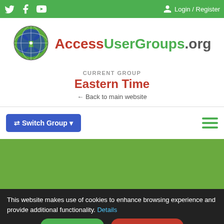Twitter Facebook YouTube | Login / Register
[Figure (logo): AccessUserGroups.org globe logo with blue and green segments]
AccessUserGroups.org
CURRENT GROUP
Eastern Time
← Back to main website
⇄ Switch Group ▾
This website makes use of cookies to enhance browsing experience and provide additional functionality. Details
Allow cookies
Disallow cookies